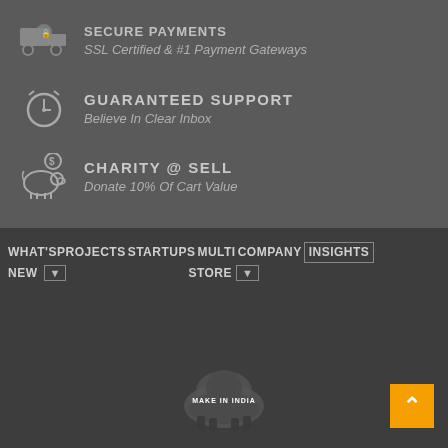SECURE PAYMENTS
SSL Certified & #1 Payment Gateways
GUARANTEED SUPPORT
Believe In Clear Inbox
CHARITY @ SELL
Donate 10% Of Cart Value
WHAT'S NEW
PROJECTS
STARTUPS
MULTI STORE
COMPANY
INSIGHTS
[Figure (logo): Make in India lion logo with text MAKE IN INDIA]
MAKE IN INDIA